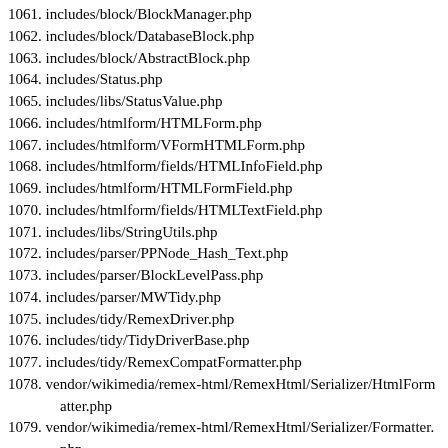1061. includes/block/BlockManager.php
1062. includes/block/DatabaseBlock.php
1063. includes/block/AbstractBlock.php
1064. includes/Status.php
1065. includes/libs/StatusValue.php
1066. includes/htmlform/HTMLForm.php
1067. includes/htmlform/VFormHTMLForm.php
1068. includes/htmlform/fields/HTMLInfoField.php
1069. includes/htmlform/HTMLFormField.php
1070. includes/htmlform/fields/HTMLTextField.php
1071. includes/libs/StringUtils.php
1072. includes/parser/PPNode_Hash_Text.php
1073. includes/parser/BlockLevelPass.php
1074. includes/parser/MWTidy.php
1075. includes/tidy/RemexDriver.php
1076. includes/tidy/TidyDriverBase.php
1077. includes/tidy/RemexCompatFormatter.php
1078. vendor/wikimedia/remex-html/RemexHtml/Serializer/HtmlFormatter.php
1079. vendor/wikimedia/remex-html/RemexHtml/Serializer/Formatter.php
1080. vendor/wikimedia/remex-html/RemexHtml/DOM/DOMFormatter.php
1081. vendor/wikimedia/remex-html/RemexHtml/HTMLData.php
1082. vendor/wikimedia/remex-html/RemexHtml/Serializer/Serializer.php